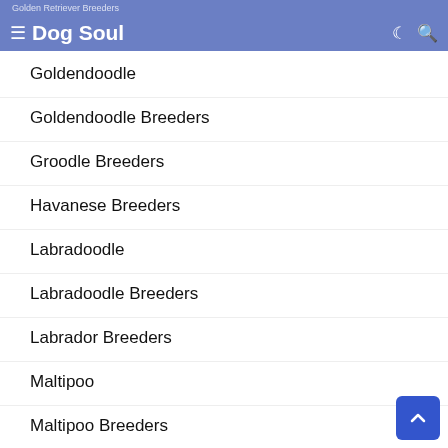Dog Soul
Goldendoodle
Goldendoodle Breeders
Groodle Breeders
Havanese Breeders
Labradoodle
Labradoodle Breeders
Labrador Breeders
Maltipoo
Maltipoo Breeders
Moodle Breeders
Pitbull Breeders
Poodle Breeders